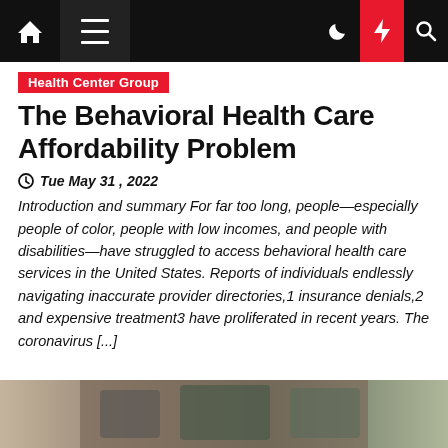Navigation bar with home, menu, moon, bolt, and search icons
Health Center Group
The Behavioral Health Care Affordability Problem
Tue May 31, 2022
Introduction and summary For far too long, people—especially people of color, people with low incomes, and people with disabilities—have struggled to access behavioral health care services in the United States. Reports of individuals endlessly navigating inaccurate provider directories,1 insurance denials,2 and expensive treatment3 have proliferated in recent years. The coronavirus [...]
[Figure (photo): Partial photo at bottom of page, appears to show a person's hands or lap area, in muted earth tones]